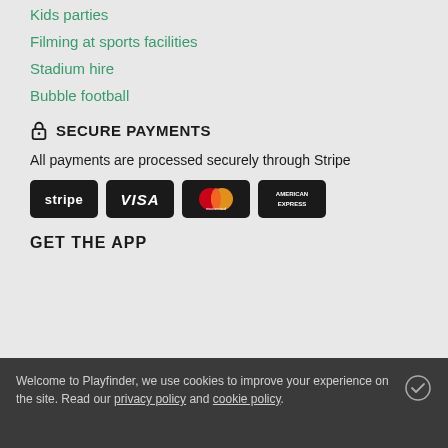Kids parties
Filming at sports facilities
Stadium hire
Bubble football
SECURE PAYMENTS
All payments are processed securely through Stripe
[Figure (logo): Payment logos: Stripe, Visa, Mastercard, American Express]
GET THE APP
Welcome to Playfinder, we use cookies to improve your experience on the site. Read our privacy policy and cookie policy.